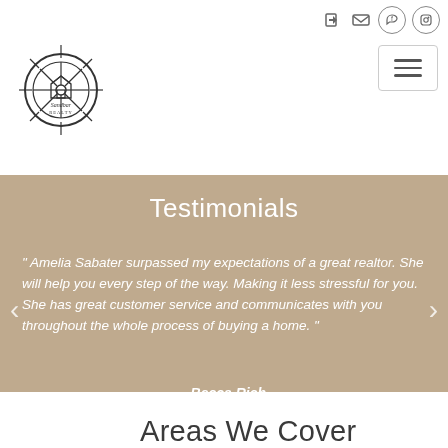[Figure (logo): Sandbar Realty logo — circular ship wheel design with house icon inside and 'Sandbar Realty' text]
Testimonials
" Amelia Sabater surpassed my expectations of a great realtor. She will help you every step of the way. Making it less stressful for you. She has great customer service and communicates with you throughout the whole process of buying a home. "
- Becca Rich
Areas We Cover